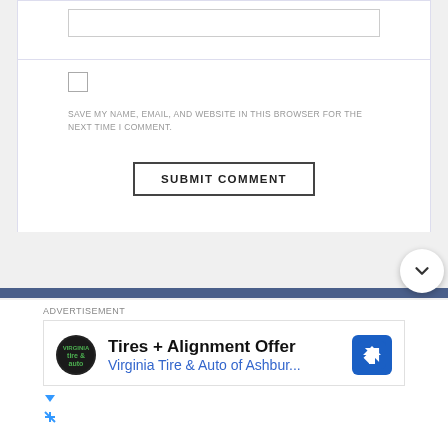[Figure (screenshot): Web form section showing a text input box at the top]
[Figure (screenshot): Checkbox element (unchecked)]
SAVE MY NAME, EMAIL, AND WEBSITE IN THIS BROWSER FOR THE NEXT TIME I COMMENT.
SUBMIT COMMENT
ADVERTISEMENT
[Figure (screenshot): Advertisement for Virginia Tire & Auto of Ashbur... showing Tires + Alignment Offer with logo and navigation icon]